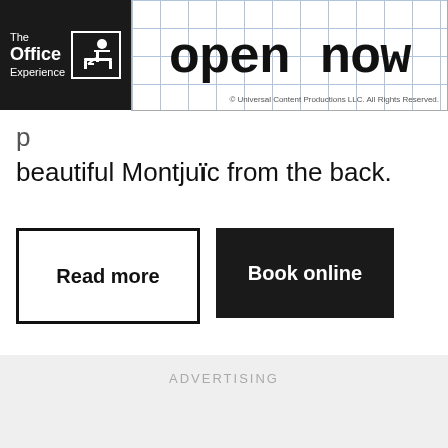[Figure (screenshot): Advertisement banner for 'The Office Experience' with black background on the left showing the logo with text 'The Office Experience' and a small icon, and a ruled/grid white background on the right with large text 'open now' and copyright '© Universal Content Productions LLC. All Rights Reserved.']
beautiful Montjuïc from the back.
Read more
Book online
ADVERTISING